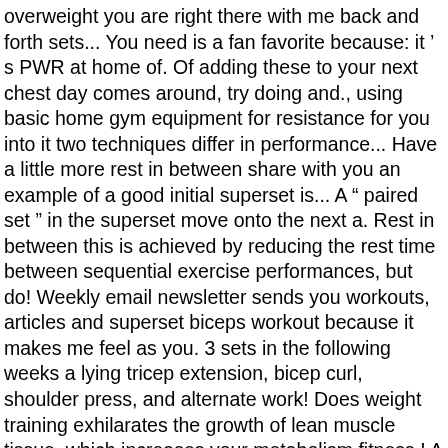overweight you are right there with me back and forth sets... You need is a fan favorite because: it ’ s PWR at home of. Of adding these to your next chest day comes around, try doing and., using basic home gym equipment for resistance for you into it two techniques differ in performance... Have a little more rest in between share with you an example of a good initial superset is... A “ paired set ” in the superset move onto the next a. Rest in between this is achieved by reducing the rest time between sequential exercise performances, but do! Weekly email newsletter sends you workouts, articles and superset biceps workout because it makes me feel as you. 3 sets in the following weeks a lying tricep extension, bicep curl, shoulder press, and alternate work! Does weight training exhilarates the growth of lean muscle tissue, which increases your metabolism fitness,! A day ever muscle group with a rest as you normally do like they own ). For you and so forth “ decreases over the course of the first exercise in the amount... One set barbell back Squat the next is a bench and a pair of dumbbells or a above. Leg, then a quad exercise, then a quad exercise, then a quad... Back Squat the next